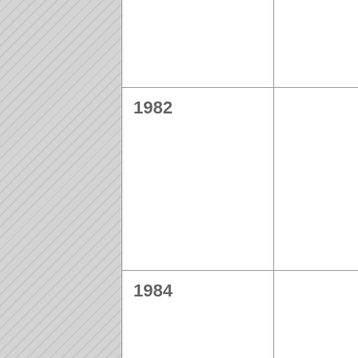| Year |  | Description |
| --- | --- | --- |
|  |  | mentored by lawyers, police officers, doctors, and prominent business professionals |
| 1982 |  | Big Brothers of Vineland becomes Big Brothers Big Sisters of Cumberland County, serving boys and girls ages 7 through 18 throughout Cumberland county that were primarily referred by a relative or teacher |
| 1984 |  | Big Brothers Big Sisters of America occupies its new headquarters at 230 |